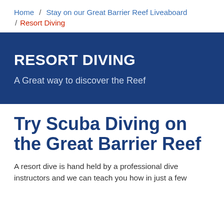Home / Stay on our Great Barrier Reef Liveaboard / Resort Diving
RESORT DIVING
A Great way to discover the Reef
Try Scuba Diving on the Great Barrier Reef
A resort dive is hand held by a professional dive instructors and we can teach you how in just a few